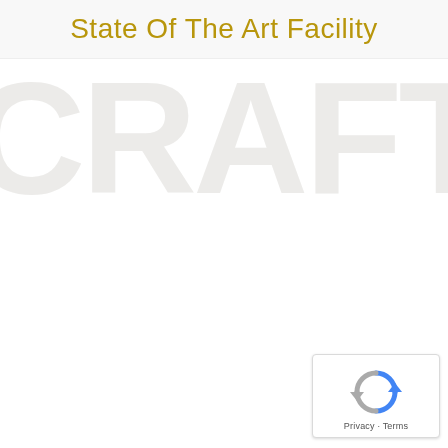State Of The Art Facility
[Figure (other): Large watermark text reading CRAFT in light gray across the background]
[Figure (other): Google reCAPTCHA badge widget with spinning arrows icon and Privacy - Terms text]